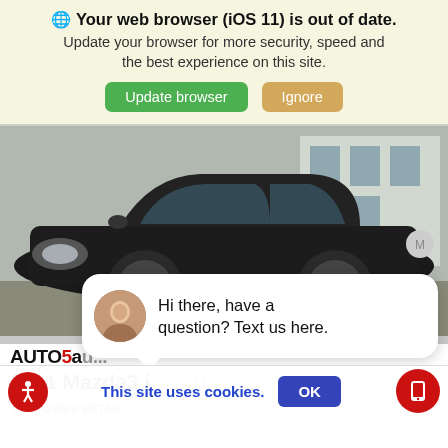🌐 Your web browser (iOS 11) is out of date. Update your browser for more security, speed and the best experience on this site.
Update browser | Ignore
[Figure (photo): Photo of a black Mazda3 sedan viewed from the front-left angle, parked in front of a building.]
close
Hi there, have a question? Text us here.
AUTO5A...
2011 Mazda3 i Sport ...
J.D. POWER RETAIL
This site uses cookies.
OK